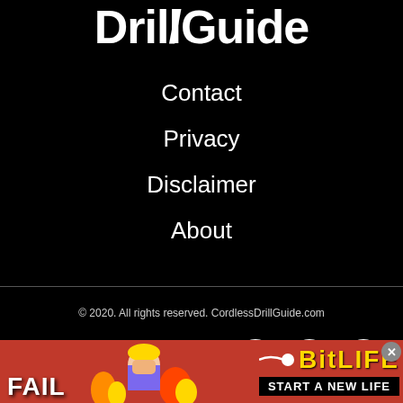DrillGuide
Contact
Privacy
Disclaimer
About
© 2020. All rights reserved. CordlessDrillGuide.com
[Figure (illustration): Social media icons: LinkedIn, Facebook, Twitter in white circles on black background]
[Figure (infographic): BitLife advertisement banner with FAIL text, cartoon character facepalming, flames, BitLife logo and START A NEW LIFE text]